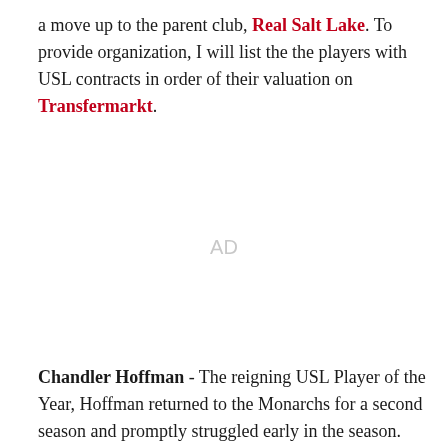a move up to the parent club, Real Salt Lake. To provide organization, I will list the the players with USL contracts in order of their valuation on Transfermarkt.
[Figure (other): Advertisement placeholder showing 'AD' text in gray]
Chandler Hoffman - The reigning USL Player of the Year, Hoffman returned to the Monarchs for a second season and promptly struggled early in the season.